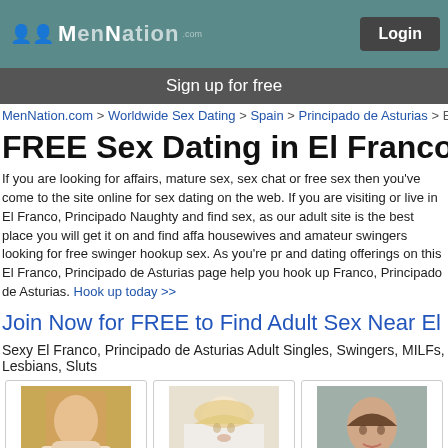MenNation.com - Login - Sign up for free
MenNation.com > Worldwide Sex Dating > Spain > Principado de Asturias > El F...
FREE Sex Dating in El Franco,
If you are looking for affairs, mature sex, sex chat or free sex then you've come to the site online for sex dating on the web. If you are visiting or live in El Franco, Principado Naughty and find sex, as our adult site is the best place you will get it on and find aff housewives and amateur swingers looking for free swinger hookup sex. As you're p and dating offerings on this El Franco, Principado de Asturias page help you hook up Franco, Principado de Asturias. Hook up today >>
Join Now for FREE to Find Adult Sex Near El F...
Sexy El Franco, Principado de Asturias Adult Singles, Swingers, MILFs, Lesbians, Sluts
[Figure (photo): Profile photo of Arletten]
[Figure (photo): Profile photo of alysure12]
[Figure (photo): Profile photo of cristi_caliente]